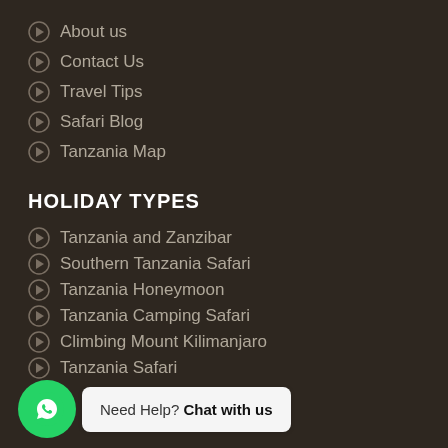About us
Contact Us
Travel Tips
Safari Blog
Tanzania Map
HOLIDAY TYPES
Tanzania and Zanzibar
Southern Tanzania Safari
Tanzania Honeymoon
Tanzania Camping Safari
Climbing Mount Kilimanjaro
Tanzania Safari
Need Help? Chat with us